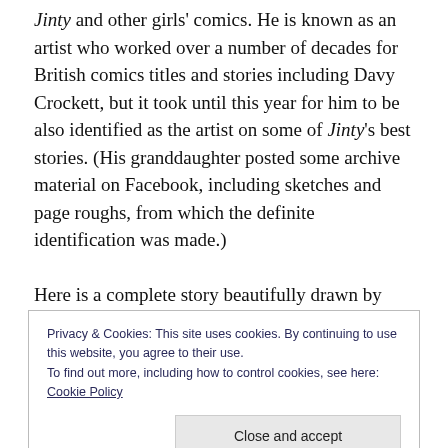Jinty and other girls' comics. He is known as an artist who worked over a number of decades for British comics titles and stories including Davy Crockett, but it took until this year for him to be also identified as the artist on some of Jinty's best stories. (His granddaughter posted some archive material on Facebook, including sketches and page roughs, from which the definite identification was made.)
Here is a complete story beautifully drawn by Terry Aspin, from the Gypsy Rose 'spooky storyteller' series; this
Privacy & Cookies: This site uses cookies. By continuing to use this website, you agree to their use.
To find out more, including how to control cookies, see here: Cookie Policy
[Figure (photo): Partial image of a comic book page, black and white]